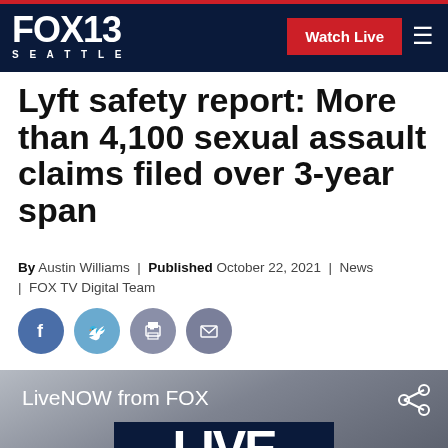FOX 13 SEATTLE | Watch Live
Lyft safety report: More than 4,100 sexual assault claims filed over 3-year span
By Austin Williams | Published October 22, 2021 | News | FOX TV Digital Team
[Figure (screenshot): Social sharing icons: Facebook, Twitter, Print, Email]
[Figure (screenshot): LiveNOW from FOX video player thumbnail showing 'LIVE NOW' text overlay on grey background]